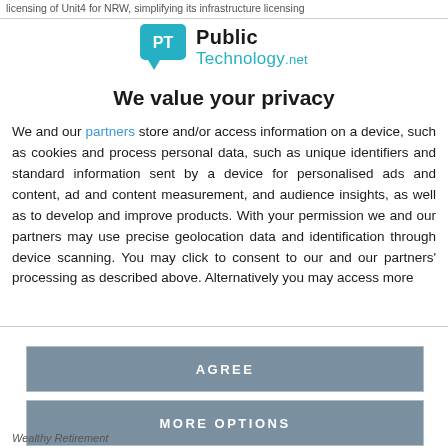licensing of Unit4 for NRW, simplifying its infrastructure licensing
[Figure (logo): PublicTechnology.net logo with teal speech-bubble icon, bold 'Public' in dark and 'Technology.net' in teal]
We value your privacy
We and our partners store and/or access information on a device, such as cookies and process personal data, such as unique identifiers and standard information sent by a device for personalised ads and content, ad and content measurement, and audience insights, as well as to develop and improve products. With your permission we and our partners may use precise geolocation data and identification through device scanning. You may click to consent to our and our partners' processing as described above. Alternatively you may access more
AGREE
MORE OPTIONS
Wealthy Retirement